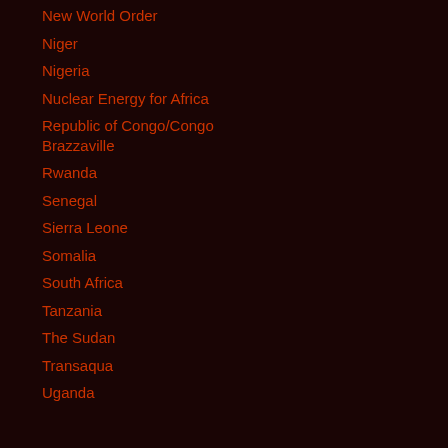New World Order
Niger
Nigeria
Nuclear Energy for Africa
Republic of Congo/Congo Brazzaville
Rwanda
Senegal
Sierra Leone
Somalia
South Africa
Tanzania
The Sudan
Transaqua
Uganda